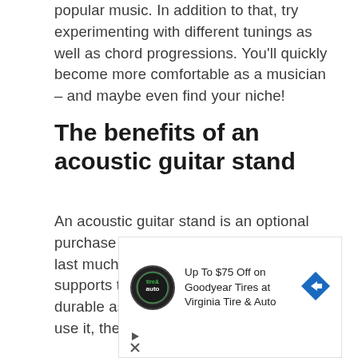popular music. In addition to that, try experimenting with different tunings as well as chord progressions. You'll quickly become more comfortable as a musician – and maybe even find your niche!
The benefits of an acoustic guitar stand
An acoustic guitar stand is an optional purchase that can help your instrument last much longer. The material that supports the guitar might not be as durable as the guitar itself. The more you use it, the more likely it
[Figure (other): Advertisement banner: Up To $75 Off on Goodyear Tires at Virginia Tire & Auto, with Tires Plus Auto logo and a blue navigation arrow icon. Controls include play and close buttons.]